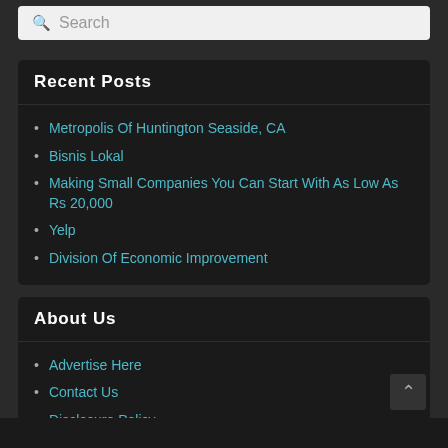Search
Recent Posts
Metropolis Of Huntington Seaside, CA
Bisnis Lokal
Making Small Companies You Can Start With As Low As Rs 20,000
Yelp
Division Of Economic Improvement
About Us
Advertise Here
Contact Us
Disclosure Policy
Sitemap